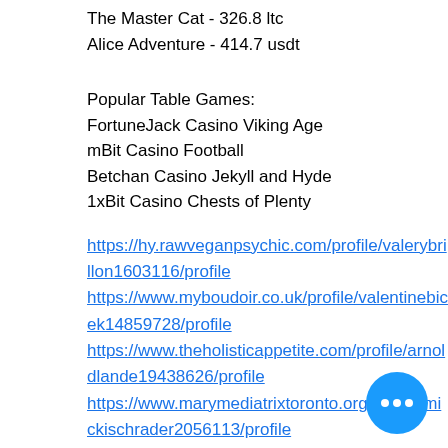The Master Cat - 326.8 ltc
Alice Adventure - 414.7 usdt
Popular Table Games:
FortuneJack Casino Viking Age
mBit Casino Football
Betchan Casino Jekyll and Hyde
1xBit Casino Chests of Plenty
https://hy.rawveganpsychic.com/profile/valerybrillon1603116/profile https://www.myboudoir.co.uk/profile/valentinebicek14859728/profile https://www.theholisticappetite.com/profile/arnoldlande19438626/profile https://www.marymediatrixtoronto.org/profile/mickischrader2056113/profile